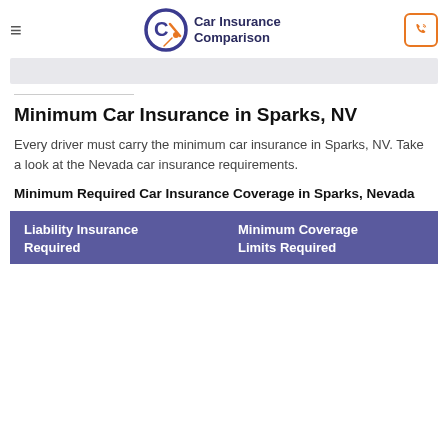Car Insurance Comparison
Minimum Car Insurance in Sparks, NV
Every driver must carry the minimum car insurance in Sparks, NV. Take a look at the Nevada car insurance requirements.
Minimum Required Car Insurance Coverage in Sparks, Nevada
| Liability Insurance Required | Minimum Coverage Limits Required |
| --- | --- |